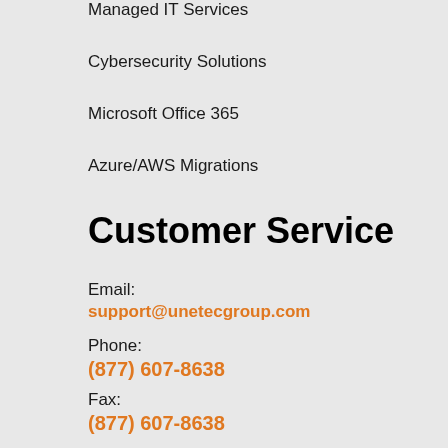Managed IT Services
Cybersecurity Solutions
Microsoft Office 365
Azure/AWS Migrations
Customer Service
Email:
support@unetecgroup.com
Phone:
(877) 607-8638
Fax:
(877) 607-8638
Address:
PO BOX 47721